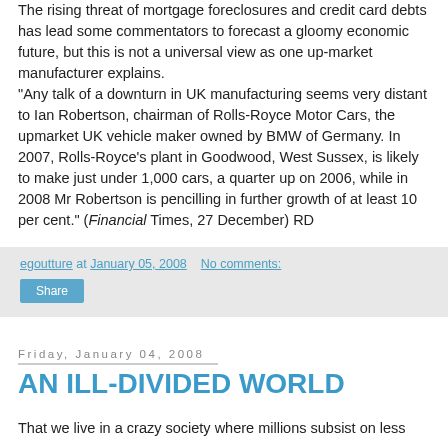The rising threat of mortgage foreclosures and credit card debts has lead some commentators to forecast a gloomy economic future, but this is not a universal view as one up-market manufacturer explains. "Any talk of a downturn in UK manufacturing seems very distant to Ian Robertson, chairman of Rolls-Royce Motor Cars, the upmarket UK vehicle maker owned by BMW of Germany. In 2007, Rolls-Royce's plant in Goodwood, West Sussex, is likely to make just under 1,000 cars, a quarter up on 2006, while in 2008 Mr Robertson is pencilling in further growth of at least 10 per cent." (Financial Times, 27 December) RD
egoutture at January 05, 2008   No comments:
Share
Friday, January 04, 2008
AN ILL-DIVIDED WORLD
That we live in a crazy society where millions subsist on less